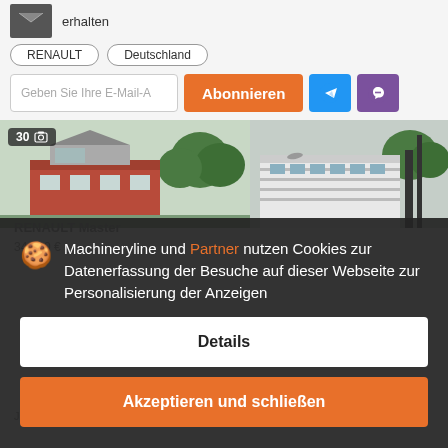[Figure (screenshot): Email icon (dark envelope)]
erhalten
RENAULT
Deutschland
Geben Sie Ihre E-Mail-A
Abonnieren
[Figure (logo): Telegram button icon]
[Figure (logo): Viber button icon]
[Figure (photo): Two photos of buildings/dealerships side by side; left photo shows count badge '30' with camera icon]
Machineryline und Partner nutzen Cookies zur Datenerfassung der Besuche auf dieser Webseite zur Personalisierung der Anzeigen
Details
Akzeptieren und schließen
RENAULT Master
34.100 €
Jahr: 2018-04  Km-Stand: 1142017 km